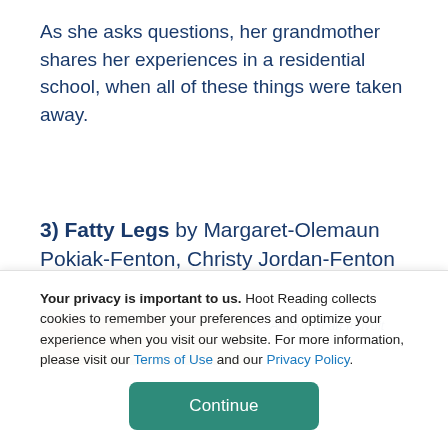As she asks questions, her grandmother shares her experiences in a residential school, when all of these things were taken away.
3) Fatty Legs by Margaret-Olemaun Pokiak-Fenton, Christy Jordan-Fenton
[Figure (photo): Partial book cover photo showing faces]
A story of an Inuvuit
Your privacy is important to us. Hoot Reading collects cookies to remember your preferences and optimize your experience when you visit our website. For more information, please visit our Terms of Use and our Privacy Policy.
Continue